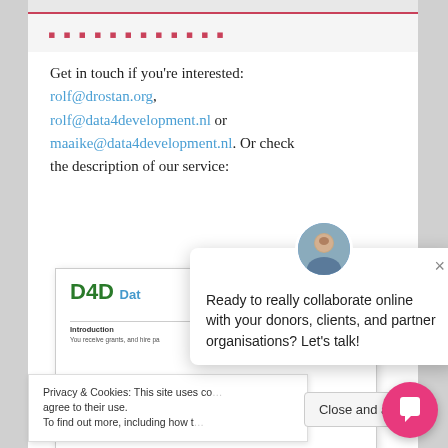Get in touch if you're interested: rolf@drostan.org, rolf@data4development.nl or maaike@data4development.nl. Or check the description of our service:
[Figure (screenshot): Screenshot of a Data4Development product page thumbnail card with T4D logo]
[Figure (screenshot): Chat popup overlay with avatar, close button, and message: Ready to really collaborate online with your donors, clients, and partner organisations? Let's talk!]
Privacy & Cookies: This site uses co... agree to their use. To find out more, including how t...
Close and ace...